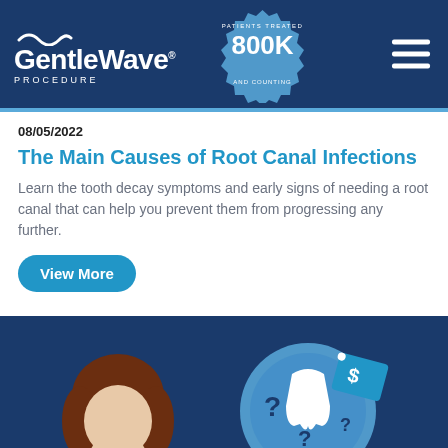[Figure (logo): GentleWave Procedure logo with wave graphic, white text on dark blue background, and a badge reading '800K Patients Treated and Counting']
08/05/2022
The Main Causes of Root Canal Infections
Learn the tooth decay symptoms and early signs of needing a root canal that can help you prevent them from progressing any further.
View More
[Figure (illustration): Illustration showing a person with brown hair next to a speech bubble containing a tooth, question marks, and a dollar sign price tag, on a dark blue background]